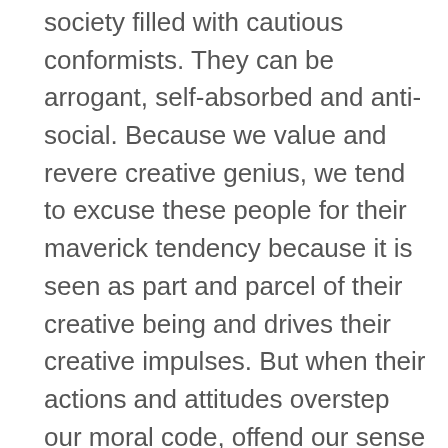society filled with cautious conformists. They can be arrogant, self-absorbed and anti-social. Because we value and revere creative genius, we tend to excuse these people for their maverick tendency because it is seen as part and parcel of their creative being and drives their creative impulses. But when their actions and attitudes overstep our moral code, offend our sense of propriety or damage others, it can be difficult to reconcile their beautiful creative outpourings with their personality and behaviour.
We confront this tension – and moral panic – when we discover those who have supposedly